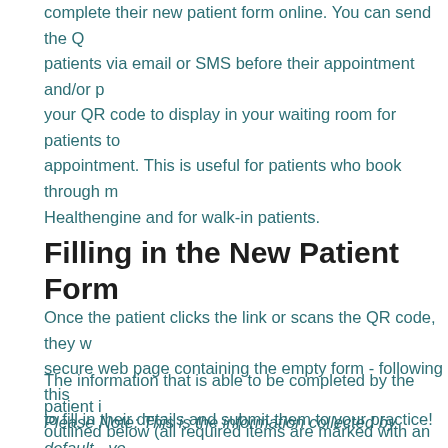complete their new patient form online. You can send the QR patients via email or SMS before their appointment and/or p your QR code to display in your waiting room for patients to appointment. This is useful for patients who book through m Healthengine and for walk-in patients.
Filling in the New Patient Form
Once the patient clicks the link or scans the QR code, they w secure web page containing the empty form - following this to fill in their details and submit them to your practice!
The information that is able to be completed by the patient i outlined below (all required items are marked with an asteri
Please Note: This is the information collected by default - yo custom fields to the end of the form if you wish. To find out check out our Help Centre article How to Customise Your N